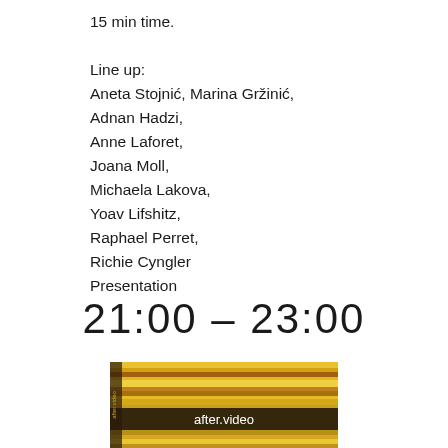15 min time.

Line up:
Aneta Stojnić, Marina Gržinić,
Adnan Hadzi,
Anne Laforet,
Joana Moll,
Michaela Lakova,
Yoav Lifshitz,
Raphael Perret,
Richie Cyngler
Presentation
21:00 - 23:00
[Figure (photo): A book or media object with colorful glitchy horizontal streaks on the cover/spine, with the text 'after.video' displayed in white on a dark banner across the middle.]